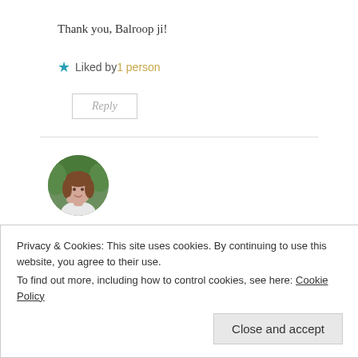Thank you, Balroop ji!
★ Liked by 1 person
Reply
[Figure (photo): Circular avatar photo of a woman with brown hair, smiling, outdoors with green foliage background]
BroadBlogs
16 Jun 2017 at 03:18
Privacy & Cookies: This site uses cookies. By continuing to use this website, you agree to their use.
To find out more, including how to control cookies, see here: Cookie Policy
Close and accept